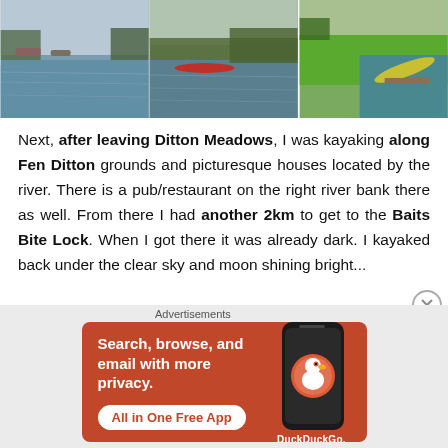[Figure (photo): Three photos of river/kayaking scenes: left shows a calm river reflection with boats, middle shows a river with reed beds and a red kayak, right shows green riverbank with a kayak pulled up on grass.]
Next, after leaving Ditton Meadows, I was kayaking along Fen Ditton grounds and picturesque houses located by the river. There is a pub/restaurant on the right river bank there as well. From there I had another 2km to get to the Baits Bite Lock. When I got there it was already dark. I kayaked back under the clear sky and moon shining bright...
[Figure (other): DuckDuckGo advertisement banner: orange background, text 'Search, browse, and email with more privacy. All in One Free App' with a phone graphic showing DuckDuckGo logo.]